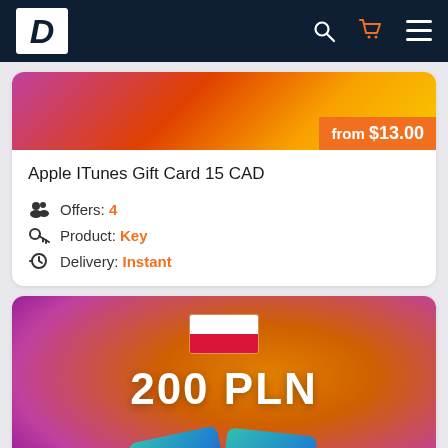RD (logo) — navigation bar with search, cart, and menu icons
[Figure (photo): Apple iTunes Gift Card 15 CAD product image with colorful gradient background showing partial card art]
from $13.00
Apple ITunes Gift Card 15 CAD
Offers: 4
Product: Key
Delivery: Instant
[Figure (photo): Apple iTunes Gift Card 200 PLN product image with purple-orange gradient background, Polish flag, '200 PLN' text, and iTunes gift cards]
from $50.58